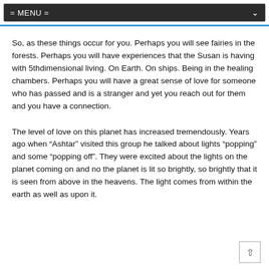= MENU =
So, as these things occur for you. Perhaps you will see fairies in the forests. Perhaps you will have experiences that the Susan is having with 5thdimensional living. On Earth. On ships. Being in the healing chambers. Perhaps you will have a great sense of love for someone who has passed and is a stranger and yet you reach out for them and you have a connection.
The level of love on this planet has increased tremendously. Years ago when “Ashtar” visited this group he talked about lights “popping” and some “popping off”. They were excited about the lights on the planet coming on and no the planet is lit so brightly, so brightly that it is seen from above in the heavens. The light comes from within the earth as well as upon it.